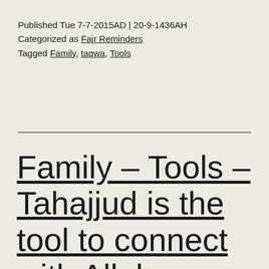Published Tue 7-7-2015AD | 20-9-1436AH
Categorized as Fajr Reminders
Tagged Family, taqwa, Tools
Family – Tools – Tahajjud is the tool to connect with Allah